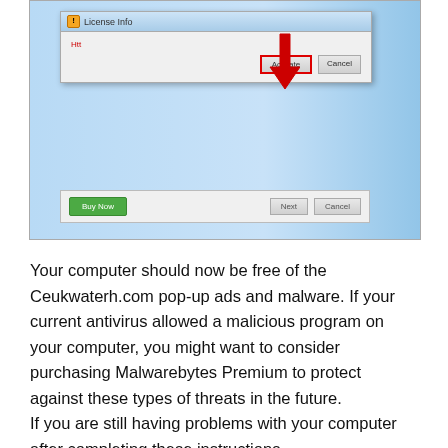[Figure (screenshot): A Windows dialog box showing a 'License Info' activation prompt with an 'Activate' button highlighted by a red rectangle and a large red arrow pointing to it. Below is a row with 'Buy Now' (green button), 'Next', and 'Cancel' buttons. The background shows a Windows 7 desktop.]
Your computer should now be free of the Ceukwaterh.com pop-up ads and malware. If your current antivirus allowed a malicious program on your computer, you might want to consider purchasing Malwarebytes Premium to protect against these types of threats in the future.
If you are still having problems with your computer after completing these instructions,